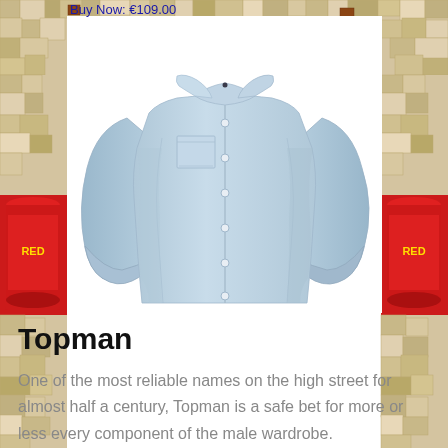Buy Now: €109.00
[Figure (photo): Light blue long-sleeve button-down Oxford shirt displayed on an invisible/ghost mannequin against a white background. The shirt has a button-down collar, chest pocket, and rolled/fitted cuffs.]
Topman
One of the most reliable names on the high street for almost half a century, Topman is a safe bet for more or less every component of the male wardrobe.